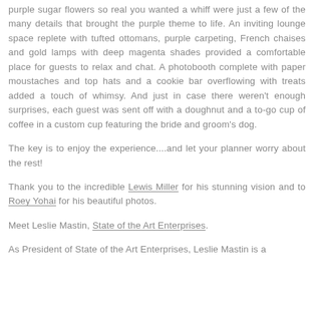purple sugar flowers so real you wanted a whiff were just a few of the many details that brought the purple theme to life. An inviting lounge space replete with tufted ottomans, purple carpeting, French chaises and gold lamps with deep magenta shades provided a comfortable place for guests to relax and chat. A photobooth complete with paper moustaches and top hats and a cookie bar overflowing with treats added a touch of whimsy. And just in case there weren't enough surprises, each guest was sent off with a doughnut and a to-go cup of coffee in a custom cup featuring the bride and groom's dog.
The key is to enjoy the experience....and let your planner worry about the rest!
Thank you to the incredible Lewis Miller for his stunning vision and to Roey Yohai for his beautiful photos.
Meet Leslie Mastin, State of the Art Enterprises.
As President of State of the Art Enterprises, Leslie Mastin is a